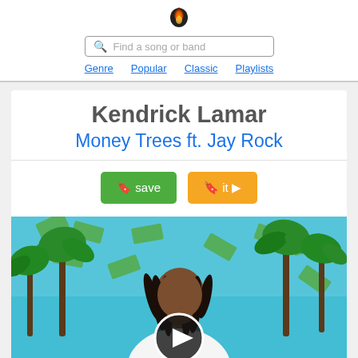[Figure (logo): Flame/drop logo icon for music app]
Find a song or band
Genre   Popular   Classic   Playlists
Kendrick Lamar
Money Trees ft. Jay Rock
🔖 save   🔖 it ▶
[Figure (photo): Kendrick Lamar album art for Money Trees — man with dreadlocks in white shirt, palm trees, money falling from sky, with play button overlay]